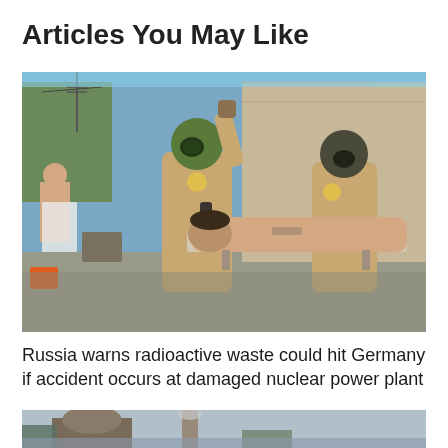Articles You May Like
[Figure (photo): Two people in tan hazmat suits and gas masks treating a shirtless man lying on a stretcher outdoors near a tent. A third shirtless person is visible in the background along with orange buckets and folding chairs.]
Russia warns radioactive waste could hit Germany if accident occurs at damaged nuclear power plant
[Figure (photo): Partial view of a building with smoke or steam, partially cropped at the bottom of the page.]